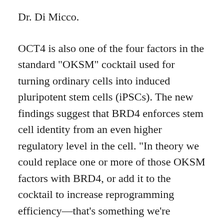Dr. Di Micco.
OCT4 is also one of the four factors in the standard "OKSM" cocktail used for turning ordinary cells into induced pluripotent stem cells (iPSCs). The new findings suggest that BRD4 enforces stem cell identity from an even higher regulatory level in the cell. "In theory we could replace one or more of those OKSM factors with BRD4, or add it to the cocktail to increase reprogramming efficiency—that's something we're working on now," says Dr. Hernando-Monge.
Conversely, she notes, BRD4 inhibitors could be used to help program cells in the other direction,